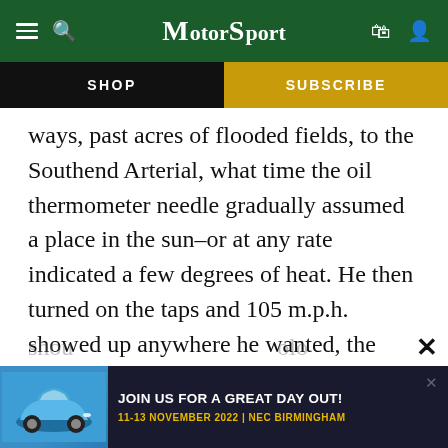MotorSport
SHOP   SUBSCRIBE
ways, past acres of flooded fields, to the Southend Arterial, what time the oil thermometer needle gradually assumed a place in the sun–or at any rate indicated a few degrees of heat. He then turned on the taps and 105 m.p.h. showed up anywhere he wanted, the revs, at a mere 4,000 or so. No real attempt was made to extend the car, for Bowles is considerate to his passenger while still acquiring the correct technique for combating a distinct tendency of this Alfa to snake when it
[Figure (infographic): Advertisement banner: blue Porsche 911 car image, dark background, text 'JOIN US FOR A GREAT DAY OUT! 11-13 NOVEMBER 2022 | NEC BIRMINGHAM']